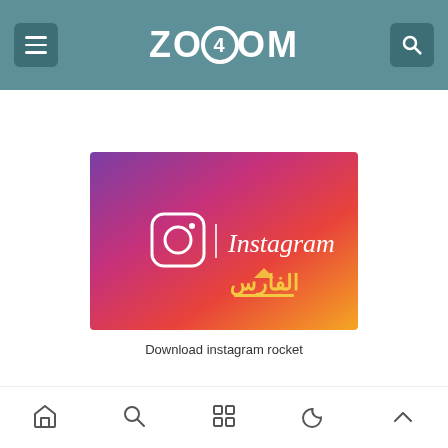ZOOM4OM — website header with menu and search icons
[Figure (illustration): Instagram promotional banner with gradient background (purple to orange), Instagram camera icon, Instagram wordmark, and Arabic watermark (الفارس)]
Download instagram rocket
Navigation bar with home, search, grid, moon, and up-arrow icons